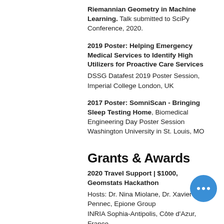Riemannian Geometry in Machine Learning. Talk submitted to SciPy Conference, 2020.
2019 Poster: Helping Emergency Medical Services to Identify High Utilizers for Proactive Care Services
DSSG Datafest 2019 Poster Session, Imperial College London, UK
2017 Poster: SomniScan - Bringing Sleep Testing Home, Biomedical Engineering Day Poster Session
Washington University in St. Louis, MO
Grants & Awards
2020 Travel Support | $1000, Geomstats Hackathon
Hosts: Dr. Nina Miolane, Dr. Xavier Pennec, Epione Group
INRIA Sophia-Antipolis, Côte d'Azur, France